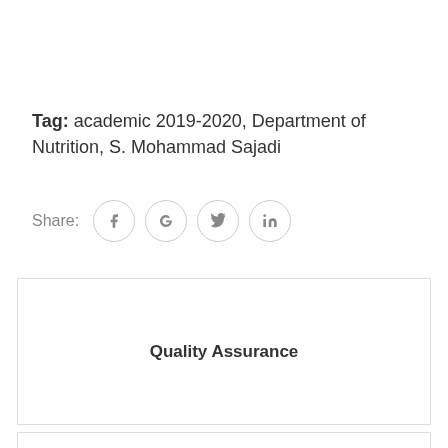Tag: academic 2019-2020, Department of Nutrition, S. Mohammad Sajadi
Share:
Quality Assurance
Previous post